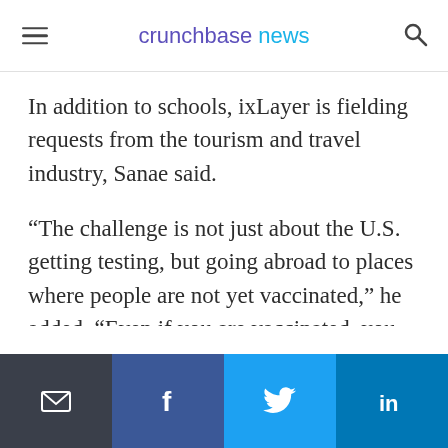crunchbase news
In addition to schools, ixLayer is fielding requests from the tourism and travel industry, Sanae said.
“The challenge is not just about the U.S. getting testing, but going abroad to places where people are not yet vaccinated,” he added. “Even if you are vaccinated, you can bring back a new strain of the disease.”
Email | Facebook | Twitter | LinkedIn share buttons